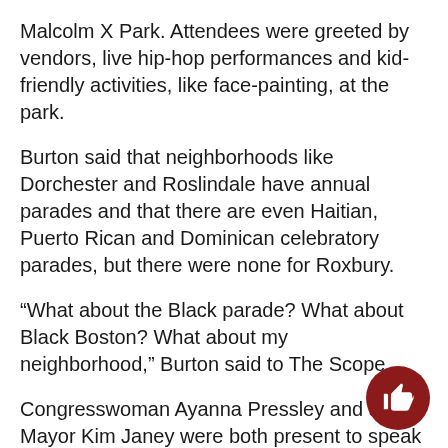Malcolm X Park. Attendees were greeted by vendors, live hip-hop performances and kid-friendly activities, like face-painting, at the park.
Burton said that neighborhoods like Dorchester and Roslindale have annual parades and that there are even Haitian, Puerto Rican and Dominican celebratory parades, but there were none for Roxbury.
“What about the Black parade? What about Black Boston? What about my neighborhood,” Burton said to The Scope.
Congresswoman Ayanna Pressley and acting Mayor Kim Janey were both present to speak at the event and hand out awards. Several of Boston’s elected officials and political candidates were also in attendance.
Event organizers say the annual event takes a year of planning, with vendor applications opening as early as October of this year.
Last year, its organizers chose to hold the parade in a caravan m despite it being during a time of high coronavirus cases through